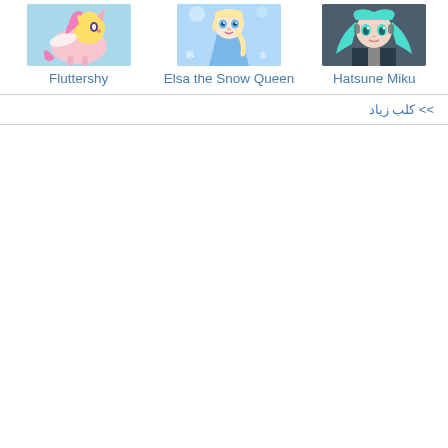[Figure (illustration): Thumbnail image of Fluttershy, a My Little Pony character, pink and yellow pony]
Fluttershy
[Figure (illustration): Thumbnail image of Elsa the Snow Queen, animated character with blue tones]
Elsa the Snow Queen
[Figure (illustration): Thumbnail image of Hatsune Miku, anime character with teal hair]
Hatsune Miku
>> كلب زياد‏